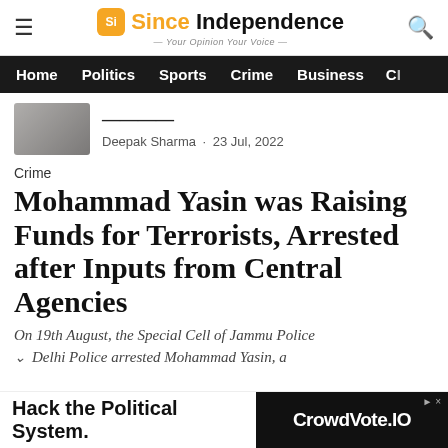Since Independence — Your Opinion Your Voice
Home  Politics  Sports  Crime  Business  C
Deepak Sharma · 23 Jul, 2022
Crime
Mohammad Yasin was Raising Funds for Terrorists, Arrested after Inputs from Central Agencies
On 19th August, the Special Cell of Jammu Police Delhi Police arrested Mohammad Yasin, a
Hack the Political System.  CrowdVote.IO